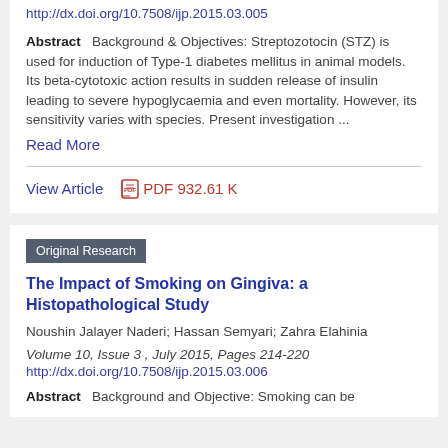http://dx.doi.org/10.7508/ijp.2015.03.005
Abstract   Background & Objectives: Streptozotocin (STZ) is used for induction of Type-1 diabetes mellitus in animal models. Its beta-cytotoxic action results in sudden release of insulin leading to severe hypoglycaemia and even mortality. However, its sensitivity varies with species. Present investigation ...
Read More
View Article    PDF 932.61 K
Original Research
The Impact of Smoking on Gingiva: a Histopathological Study
Noushin Jalayer Naderi; Hassan Semyari; Zahra Elahinia
Volume 10, Issue 3 , July 2015, Pages 214-220
http://dx.doi.org/10.7508/ijp.2015.03.006
Abstract   Background and Objective: Smoking can be associated with the changes in gingival flora and...